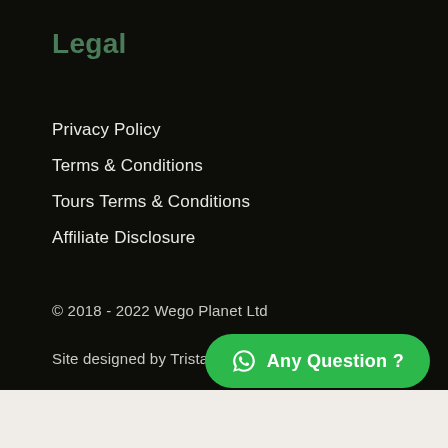Legal
Privacy Policy
Terms & Conditions
Tours Terms & Conditions
Affiliate Disclosure
© 2018 - 2022 Wego Planet Ltd
Site designed by Trista
[Figure (other): WhatsApp button with text 'Any Question ?']